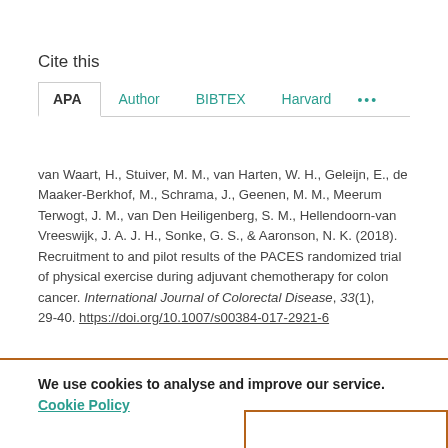Cite this
APA  Author  BIBTEX  Harvard  ...
van Waart, H., Stuiver, M. M., van Harten, W. H., Geleijn, E., de Maaker-Berkhof, M., Schrama, J., Geenen, M. M., Meerum Terwogt, J. M., van Den Heiligenberg, S. M., Hellendoorn-van Vreeswijk, J. A. J. H., Sonke, G. S., & Aaronson, N. K. (2018). Recruitment to and pilot results of the PACES randomized trial of physical exercise during adjuvant chemotherapy for colon cancer. International Journal of Colorectal Disease, 33(1), 29-40. https://doi.org/10.1007/s00384-017-2921-6
We use cookies to analyse and improve our service. Cookie Policy